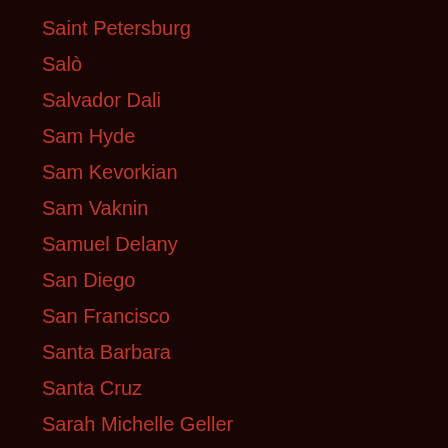Saint Petersburg
Salò
Salvador Dali
Sam Hyde
Sam Kevorkian
Sam Vaknin
Samuel Delany
San Diego
San Francisco
Santa Barbara
Santa Cruz
Sarah Michelle Geller
Saudi Arabia
SCALE
Scarlet Johansson